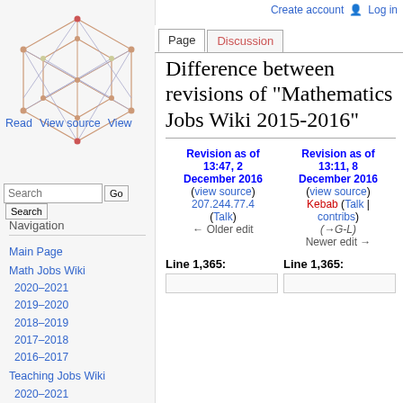Create account  Log in
[Figure (logo): Wikipedia-style geometric hexagonal logo with interconnected triangles and nodes]
Read  View source  View
Page  Discussion
Search  Go  Search
Navigation
Main Page
Math Jobs Wiki
2020–2021
2019–2020
2018–2019
2017–2018
2016–2017
Teaching Jobs Wiki
2020–2021
2019–2020
2018–2019
2017–2018
2016–2017
Difference between revisions of "Mathematics Jobs Wiki 2015-2016"
| Revision as of 13:47, 2 December 2016 | Revision as of 13:11, 8 December 2016 |
| --- | --- |
| (view source) | (view source) |
| 207.244.77.4 | Kebab (Talk | contribs) |
| (Talk) |  |
| ← Older edit | (→G-L)
Newer edit → |
Line 1,365:
Line 1,365: